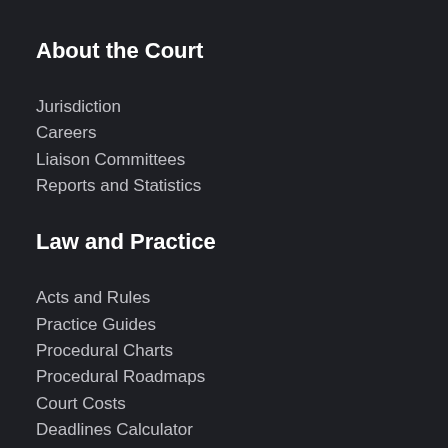About the Court
Jurisdiction
Careers
Liaison Committees
Reports and Statistics
Law and Practice
Acts and Rules
Practice Guides
Procedural Charts
Procedural Roadmaps
Court Costs
Deadlines Calculator
Checklists
Online Access